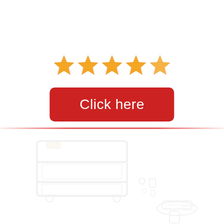[Figure (illustration): Five gold/orange star rating icons in a horizontal row]
[Figure (illustration): Red rounded rectangle button with white text 'Click here']
[Figure (illustration): Faded/watermark product image showing a plastic storage box/case with accessories and what appears to be a power tool or similar device, very low opacity]